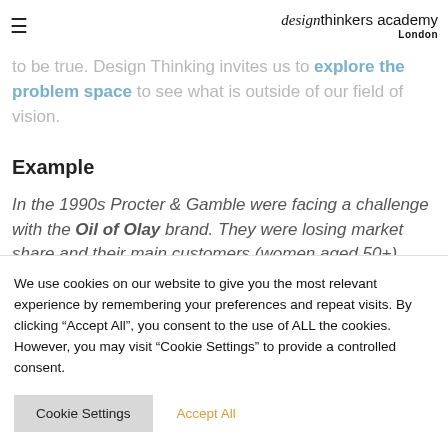design thinkers academy London
Very often when we experience challenges in our work, we look for solutions based on what we see and know to be true. Design Thinking invites us to explore the problem space to see what is outside of our field of vision.
Example
In the 1990s Procter & Gamble were facing a challenge with the Oil of Olay brand. They were losing market share and their main customers (women aged 50+) didn't want to pay premium
We use cookies on our website to give you the most relevant experience by remembering your preferences and repeat visits. By clicking "Accept All", you consent to the use of ALL the cookies. However, you may visit "Cookie Settings" to provide a controlled consent.